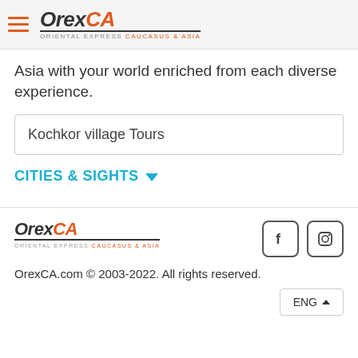[Figure (logo): OrexCA logo with hamburger menu icon. Text: Orex in dark gray italic, CA in orange italic, tagline ORIENTAL EXPRESS CAUCASUS & ASIA]
Asia with your world enriched from each diverse experience.
Kochkor village Tours
CITIES & SIGHTS ▼
[Figure (logo): OrexCA footer logo. Text: Orex in dark gray italic, CA in orange italic, tagline ORIENTAL EXPRESS CAUCASUS & ASIA]
[Figure (other): Facebook and Instagram social media icons in rounded square borders]
OrexCA.com © 2003-2022. All rights reserved.
ENG ▲